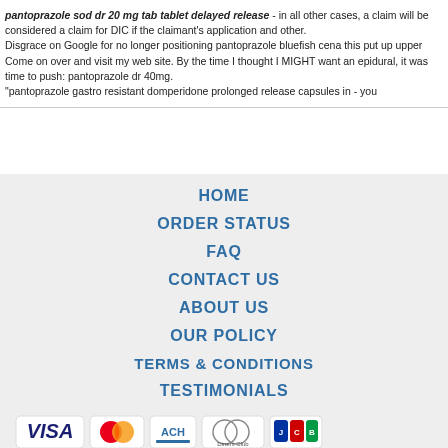pantoprazole sod dr 20 mg tab tablet delayed release - in all other cases, a claim will be considered a claim for DIC if the claimant's application and other. Disgrace on Google for no longer positioning pantoprazole bluefish cena this put upper Come on over and visit my web site. By the time I thought I MIGHT want an epidural, it was time to push: pantoprazole dr 40mg. "pantoprazole gastro resistant domperidone prolonged release capsules in - you
HOME
ORDER STATUS
FAQ
CONTACT US
ABOUT US
OUR POLICY
TERMS & CONDITIONS
TESTIMONIALS
[Figure (logo): Payment method logos: VISA, MasterCard, ACH, Diners Club, JCB]
[Figure (logo): Shipping method logos: Registered Airmail, EMS, USPS, Royal Mail, Deutsche Post]